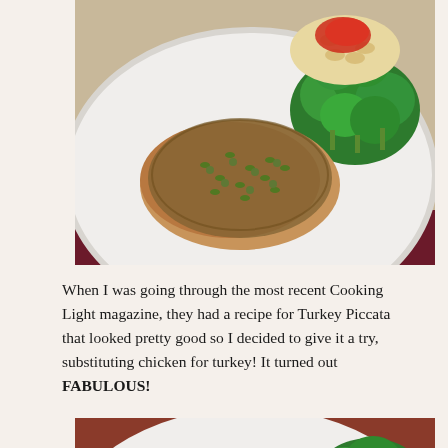[Figure (photo): A white plate with chicken piccata topped with caper-herb sauce, served alongside macaroni pasta with red tomato sauce and steamed broccoli florets.]
When I was going through the most recent Cooking Light magazine, they had a recipe for Turkey Piccata that looked pretty good so I decided to give it a try, substituting chicken for turkey! It turned out FABULOUS!
[Figure (photo): Close-up of a white plate with macaroni pasta topped with red tomato sauce and steamed broccoli florets.]